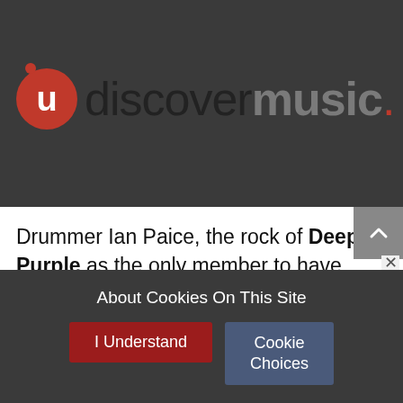[Figure (logo): uDiscover Music logo: red circle with white 'u', followed by 'discover' in dark and 'music.' in grey bold text on dark background]
Drummer Ian Paice, the rock of Deep Purple as the only member to have been in the band continuously from their inception in 1968, turns 66 on Sunday (June 29).
About Cookies On This Site
I Understand
Cookie Choices